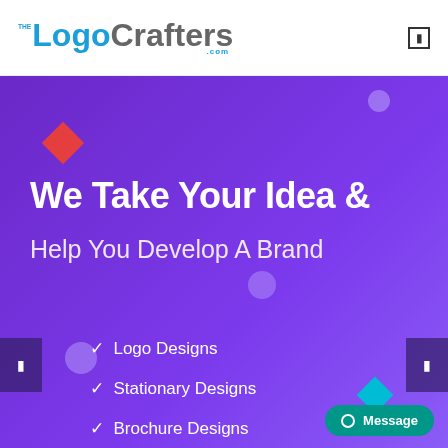[Figure (logo): TheLogoCrafters.com logo with blue and grey text]
We Take Your Idea &
Help You Develop A Brand
Logo Designs
Stationary Designs
Brochure Designs
Social Media Designs